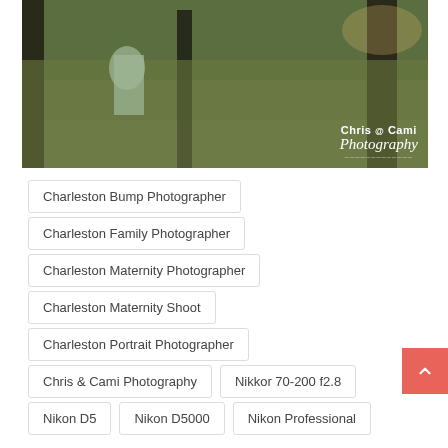[Figure (photo): Outdoor nature photo showing a pregnant woman near palm trees and tall grass, with 'Chris & Cami Photography' watermark in the bottom right corner]
Charleston Bump Photographer
Charleston Family Photographer
Charleston Maternity Photographer
Charleston Maternity Shoot
Charleston Portrait Photographer
Chris & Cami Photography
Nikkor 70-200 f2.8
Nikon D5
Nikon D5000
Nikon Professional